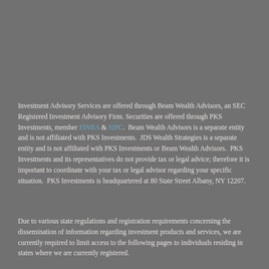Investment Advisory Services are offered through Beam Wealth Advisors, an SEC Registered Investment Advisory Firm. Securities are offered through PKS Investments, member FINRA & SIPC.  Beam Wealth Advisors is a separate entity and is not affiliated with PKS Investments.  JDS Wealth Strategies is a separate entity and is not affiliated with PKS Investments or Beam Wealth Advisors.  PKS Investments and its representatives do not provide tax or legal advice; therefore it is important to coordinate with your tax or legal advisor regarding your specific situation.  PKS Investments is headquartered at 80 State Street Albany, NY 12207.
Due to various state regulations and registration requirements concerning the dissemination of information regarding investment products and services, we are currently required to limit access to the following pages to individuals residing in states where we are currently registered.